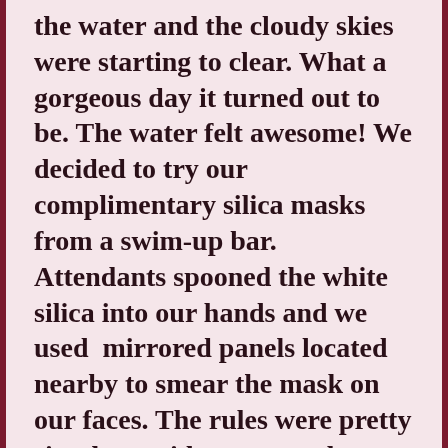the water and the cloudy skies were starting to clear. What a gorgeous day it turned out to be. The water felt awesome! We decided to try our complimentary silica masks from a swim-up bar. Attendants spooned the white silica into our hands and we used  mirrored panels located nearby to smear the mask on our faces. The rules were pretty simple: avoid your eyes, leave the mask on for 10-15 minutes, then wash off for smooth, hydrated skin. We had a lot of laughs while looking like poor imitations of clowns/mimes/geishas with our streaky white faces and oily, slicked back hair! Thank goodness one brave soul in our